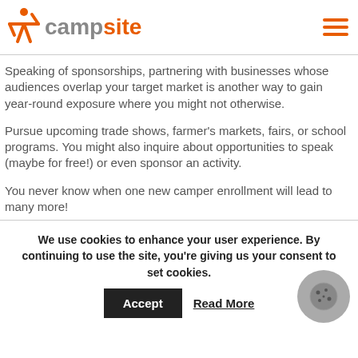campsite
Speaking of sponsorships, partnering with businesses whose audiences overlap your target market is another way to gain year-round exposure where you might not otherwise.
Pursue upcoming trade shows, farmer's markets, fairs, or school programs. You might also inquire about opportunities to speak (maybe for free!) or even sponsor an activity.
You never know when one new camper enrollment will lead to many more!
We use cookies to enhance your user experience. By continuing to use the site, you're giving us your consent to set cookies.